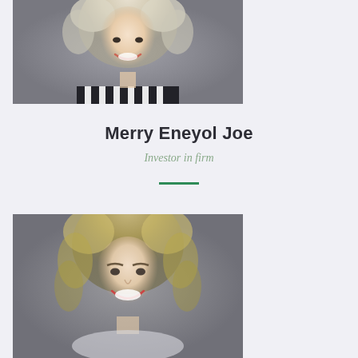[Figure (photo): Headshot portrait of a smiling woman with curly blonde/white hair wearing a black and white striped top, against a gray background — top crop showing face and upper shoulders]
Merry Eneyol Joe
Investor in firm
[Figure (photo): Headshot portrait of a smiling woman with curly light brown/blonde hair, wearing a light top, against a gray background — showing face, neck and upper shoulders]